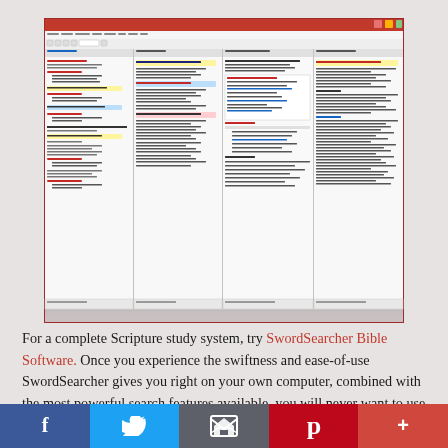[Figure (screenshot): Screenshot of SwordSearcher Bible Software showing multi-panel interface with Bible text, commentary, search results, and highlighted passages in a Windows application window.]
For a complete Scripture study system, try SwordSearcher Bible Software. Once you experience the swiftness and ease-of-use SwordSearcher gives you right on your own computer, combined with the most powerful search features available, you will never want to use the web to do online study again. Includes tens of thousands of topical, encyclopedic,